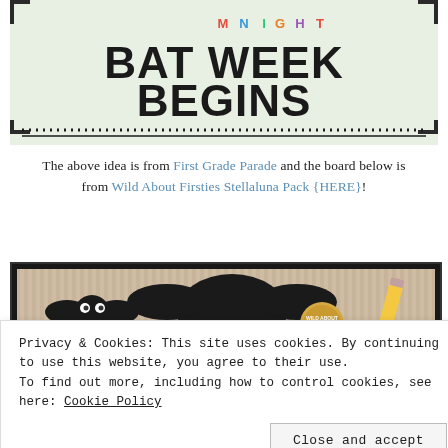[Figure (photo): Image of a classroom bulletin board display with text 'BAT WEEK BEGINS' in bold black letters on a light green background, with decorative dots border and corner accents]
The above idea is from First Grade Parade and the board below is from Wild About Firsties Stellaluna Pack {HERE}!
[Figure (photo): Photo of a classroom bulletin board featuring black bat cutouts with googly eyes, a circular Stellaluna label, a pencil, and striped background]
Privacy & Cookies: This site uses cookies. By continuing to use this website, you agree to their use.
To find out more, including how to control cookies, see here: Cookie Policy
[Figure (photo): Partial view of another classroom photo at the bottom of the page]